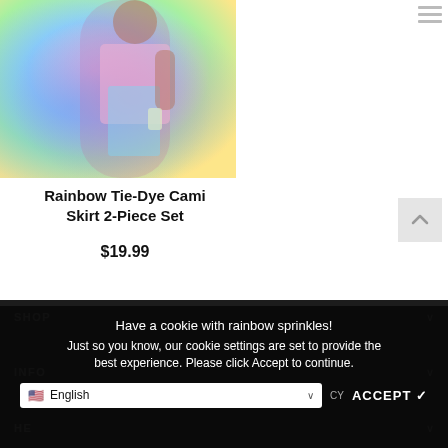[Figure (photo): A woman wearing a rainbow tie-dye cami crop top and matching skirt 2-piece set, photographed outdoors at a patio setting holding a drink.]
Rainbow Tie-Dye Cami Skirt 2-Piece Set
$19.99
SHOP
INFO
HE...
Have a cookie with rainbow sprinkles! Just so you know, our cookie settings are set to provide the best experience. Please click Accept to continue.
English
ACCEPT ✓